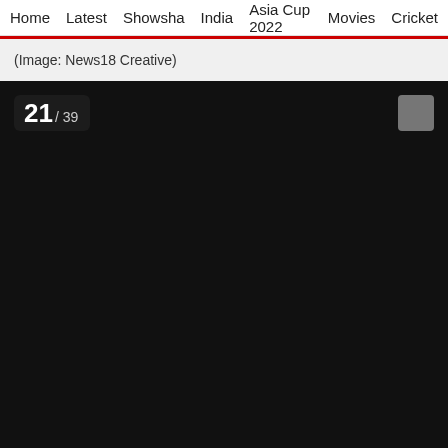Home   Latest   Showsha   India   Asia Cup 2022   Movies   Cricket
(Image: News18 Creative)
[Figure (photo): Slideshow image placeholder — black image area with slide counter badge showing '21 / 39' in top-left corner and a grey navigation button in top-right corner.]